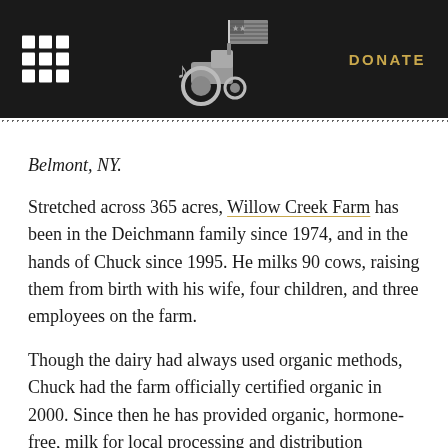DONATE
Belmont, NY.
Stretched across 365 acres, Willow Creek Farm has been in the Deichmann family since 1974, and in the hands of Chuck since 1995. He milks 90 cows, raising them from birth with his wife, four children, and three employees on the farm.
Though the dairy had always used organic methods, Chuck had the farm officially certified organic in 2000. Since then he has provided organic, hormone-free, milk for local processing and distribution throughout stores in New York.